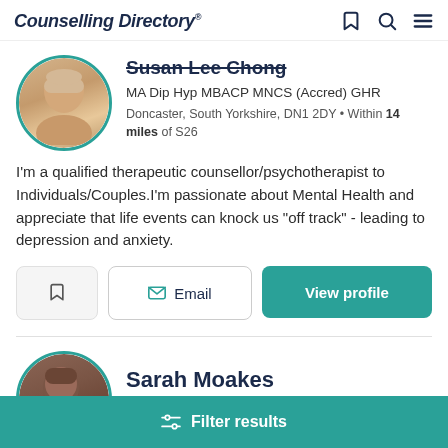Counselling Directory
Susan Lee Chong
MA Dip Hyp MBACP MNCS (Accred) GHR
Doncaster, South Yorkshire, DN1 2DY • Within 14 miles of S26
I'm a qualified therapeutic counsellor/psychotherapist to Individuals/Couples.I'm passionate about Mental Health and appreciate that life events can knock us "off track" - leading to depression and anxiety.
Email
View profile
Sarah Moakes
Filter results